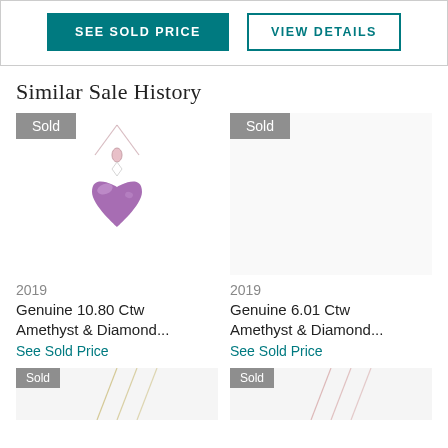SEE SOLD PRICE | VIEW DETAILS
Similar Sale History
[Figure (photo): Amethyst heart-shaped pendant necklace on rose gold chain with 'Sold' badge overlay. Left item in grid.]
2019
Genuine 10.80 Ctw Amethyst & Diamond...
See Sold Price
[Figure (photo): Placeholder image area with 'Sold' badge. Right item in grid, image not fully visible.]
2019
Genuine 6.01 Ctw Amethyst & Diamond...
See Sold Price
[Figure (photo): Bottom-left item showing partial jewelry necklace image with 'Sold' badge.]
[Figure (photo): Bottom-right item showing partial jewelry necklace image with 'Sold' badge.]